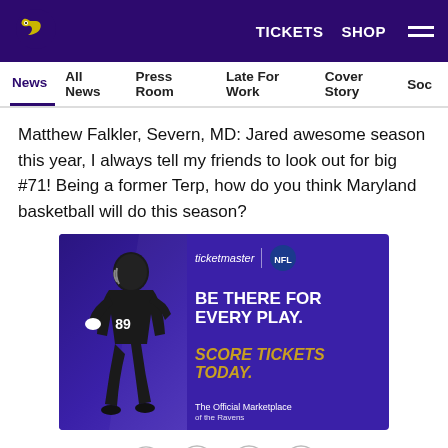TICKETS  SHOP  ≡
News  All News  Press Room  Late For Work  Cover Story  Soc
Matthew Falkler, Severn, MD: Jared awesome season this year, I always tell my friends to look out for big #71! Being a former Terp, how do you think Maryland basketball will do this season?
[Figure (illustration): Ticketmaster and NFL advertisement banner. Shows a Baltimore Ravens player #89 running, with text 'BE THERE FOR EVERY PLAY. SCORE TICKETS TODAY. The Official Marketplace of the Ravens.']
[Figure (other): Social media sharing icons: Facebook, Twitter, Email, Link]